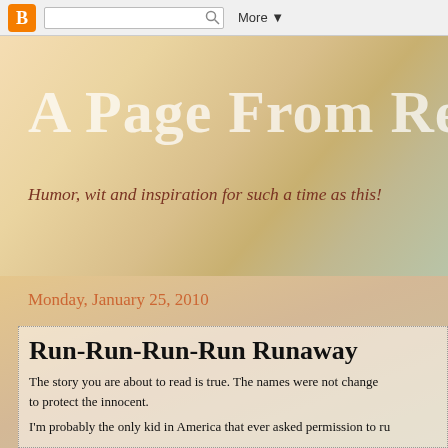More ▼
A Page From Ree
Humor, wit and inspiration for such a time as this!
Monday, January 25, 2010
Run-Run-Run-Run Runaway
The story you are about to read is true. The names were not change to protect the innocent.
I'm probably the only kid in America that ever asked permission to ru
Back when I was about 16, my phone rang early one Saturday morn calling to tell me he was frustrated with his parents and wanted to ge